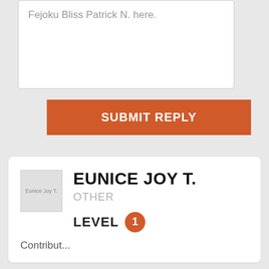Fejoku Bliss Patrick N. here.
SUBMIT REPLY
EUNICE JOY T.
OTHER
LEVEL 1
Contribut...